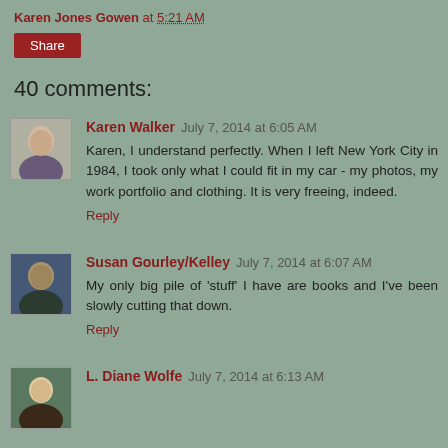Karen Jones Gowen at 5:21 AM
Share
40 comments:
Karen Walker  July 7, 2014 at 6:05 AM
Karen, I understand perfectly. When I left New York City in 1984, I took only what I could fit in my car - my photos, my work portfolio and clothing. It is very freeing, indeed.
Reply
Susan Gourley/Kelley  July 7, 2014 at 6:07 AM
My only big pile of 'stuff' I have are books and I've been slowly cutting that down.
Reply
L. Diane Wolfe  July 7, 2014 at 6:13 AM